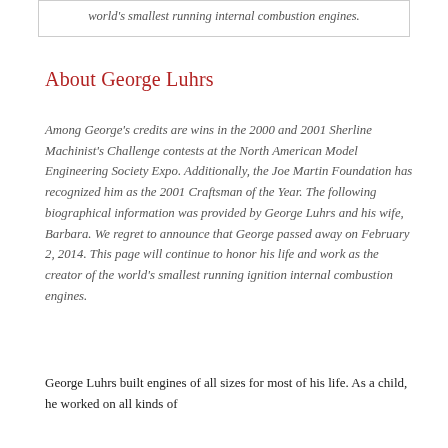world's smallest running internal combustion engines.
About George Luhrs
Among George's credits are wins in the 2000 and 2001 Sherline Machinist's Challenge contests at the North American Model Engineering Society Expo. Additionally, the Joe Martin Foundation has recognized him as the 2001 Craftsman of the Year. The following biographical information was provided by George Luhrs and his wife, Barbara. We regret to announce that George passed away on February 2, 2014. This page will continue to honor his life and work as the creator of the world's smallest running ignition internal combustion engines.
George Luhrs built engines of all sizes for most of his life. As a child, he worked on all kinds of